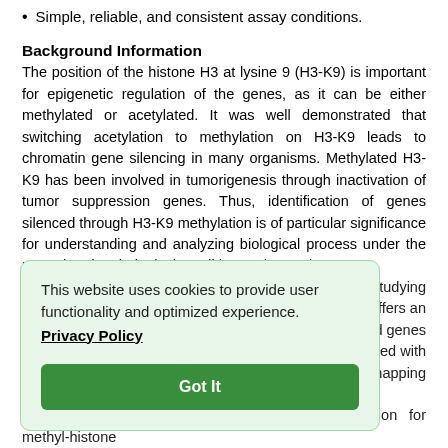Simple, reliable, and consistent assay conditions.
Background Information
The position of the histone H3 at lysine 9 (H3-K9) is important for epigenetic regulation of the genes, as it can be either methylated or acetylated. It was well demonstrated that switching acetylation to methylation on H3-K9 leads to chromatin gene silencing in many organisms. Methylated H3-K9 has been involved in tumorigenesis through inactivation of tumor suppression genes. Thus, identification of genes silenced through H3-K9 methylation is of particular significance for understanding and analyzing biological process under the normal and pathological conditions. Chromatin [or studying] [offers an] [ced genes] [upled with] [r mapping]
[Figure (other): Cookie consent popup overlay with text: 'This website uses cookies to provide user functionality and optimized experience.' with a Privacy Policy link and a 'Got It' button.]
ying out a successful chromatin immunoprecipitation for methyl-histone